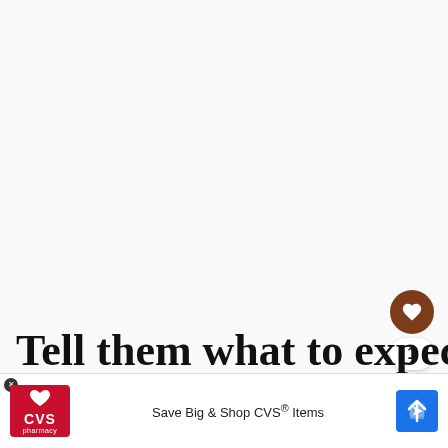[Figure (screenshot): Large blank/light top area of article page with floating UI elements: heart/like button (brown circle), count badge showing 1, and share button]
Tell them what to expect / what is expected
WHAT'S NEXT → The Ferrari Museums in...
D... ✓ Drive-through ✓ Delivery ... usually re...
[Figure (screenshot): CVS Pharmacy advertisement banner: Save Big & Shop CVS® Items]